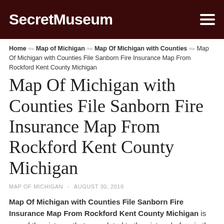SecretMuseum
Home ≫ Map of Michigan ≫ Map Of Michigan with Counties ≫ Map Of Michigan with Counties File Sanborn Fire Insurance Map From Rockford Kent County Michigan
Map Of Michigan with Counties File Sanborn Fire Insurance Map From Rockford Kent County Michigan
MAP OF MICHIGAN · AUGUST 30, 2018
Map Of Michigan with Counties File Sanborn Fire Insurance Map From Rockford Kent County Michigan is one of the pictures that are related to the picture before in the collection gallery, uploaded by secretmuseum.net. You can also look for some pictures that related to Map of Michigan by scroll down to collection on below this picture. If you want to find the other picture or article about Map Of Michigan with Counties File Sanborn Fire Insurance Map From Rockford Kent